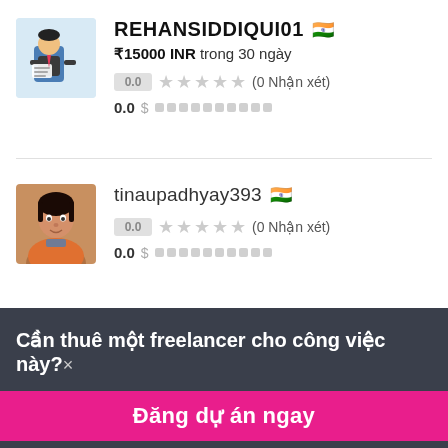[Figure (illustration): Avatar of a person (cartoon/illustration) sitting at a desk reading]
REHANSIDDIQUI01 🇮🇳
₹15000 INR trong 30 ngày
0.0 ★★★★★ (0 Nhận xét)
0.0 $ ██████████
[Figure (photo): Profile photo of a woman in orange/blue clothing]
tinaupadhyay393 🇮🇳
0.0 ★★★★★ (0 Nhận xét)
0.0 $ ██████████
Cần thuê một freelancer cho công việc này?×
Đăng dự án ngay